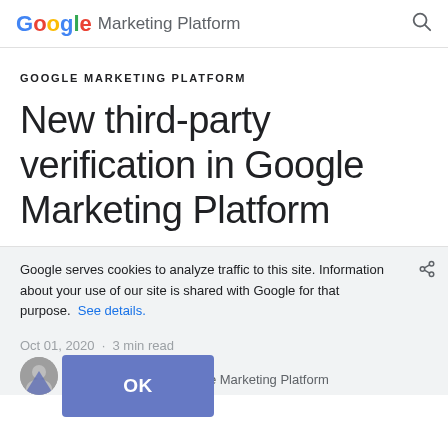Google Marketing Platform
GOOGLE MARKETING PLATFORM
New third-party verification in Google Marketing Platform
Google serves cookies to analyze traffic to this site. Information about your use of our site is shared with Google for that purpose. See details.
Oct 01, 2020 · 3 min read
Sunil Gupta
Product Manager, Google Marketing Platform